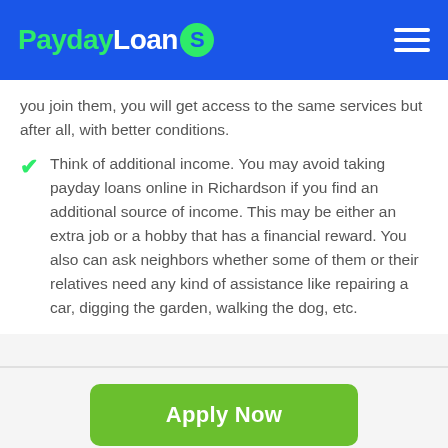PaydayLoanS
you join them, you will get access to the same services but after all, with better conditions.
Think of additional income. You may avoid taking payday loans online in Richardson if you find an additional source of income. This may be either an extra job or a hobby that has a financial reward. You also can ask neighbors whether some of them or their relatives need any kind of assistance like repairing a car, digging the garden, walking the dog, etc.
Apply Now
Applying does NOT affect your credit score!
No credit check to apply.